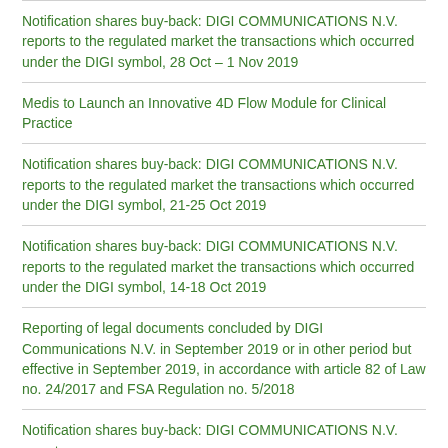Notification shares buy-back: DIGI COMMUNICATIONS N.V. reports to the regulated market the transactions which occurred under the DIGI symbol, 28 Oct – 1 Nov 2019
Medis to Launch an Innovative 4D Flow Module for Clinical Practice
Notification shares buy-back: DIGI COMMUNICATIONS N.V. reports to the regulated market the transactions which occurred under the DIGI symbol, 21-25 Oct 2019
Notification shares buy-back: DIGI COMMUNICATIONS N.V. reports to the regulated market the transactions which occurred under the DIGI symbol, 14-18 Oct 2019
Reporting of legal documents concluded by DIGI Communications N.V. in September 2019 or in other period but effective in September 2019, in accordance with article 82 of Law no. 24/2017 and FSA Regulation no. 5/2018
Notification shares buy-back: DIGI COMMUNICATIONS N.V. reports